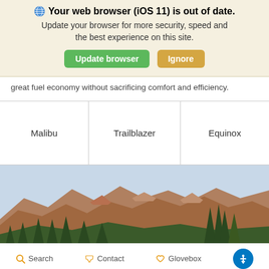🌐 Your web browser (iOS 11) is out of date. Update your browser for more security, speed and the best experience on this site. [Update browser] [Ignore]
great fuel economy without sacrificing comfort and efficiency.
| Malibu | Trailblazer | Equinox |
[Figure (photo): Panoramic mountain landscape with rocky peaks, green pine trees in the foreground, and a light blue sky]
Search  Contact  Glovebox  [Accessibility icon]